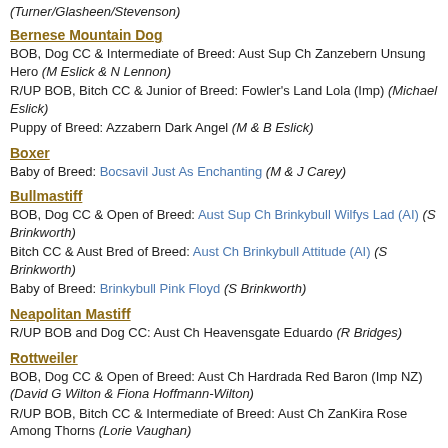(Turner/Glasheen/Stevenson)
Bernese Mountain Dog
BOB, Dog CC & Intermediate of Breed: Aust Sup Ch Zanzebern Unsung Hero (M Eslick & N Lennon)
R/UP BOB, Bitch CC & Junior of Breed: Fowler's Land Lola (Imp) (Michael Eslick)
Puppy of Breed: Azzabern Dark Angel (M & B Eslick)
Boxer
Baby of Breed: Bocsavil Just As Enchanting (M & J Carey)
Bullmastiff
BOB, Dog CC & Open of Breed: Aust Sup Ch Brinkybull Wilfys Lad (AI) (S Brinkworth)
Bitch CC & Aust Bred of Breed: Aust Ch Brinkybull Attitude (AI) (S Brinkworth)
Baby of Breed: Brinkybull Pink Floyd (S Brinkworth)
Neapolitan Mastiff
R/UP BOB and Dog CC: Aust Ch Heavensgate Eduardo (R Bridges)
Rottweiler
BOB, Dog CC & Open of Breed: Aust Ch Hardrada Red Baron (Imp NZ) (David G Wilton & Fiona Hoffmann-Wilton)
R/UP BOB, Bitch CC & Intermediate of Breed: Aust Ch ZanKira Rose Among Thorns (Lorie Vaughan)